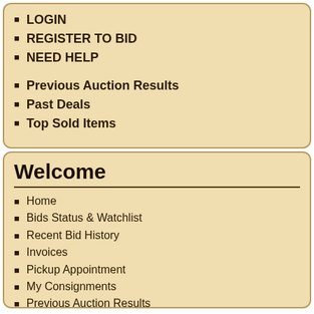LOGIN
REGISTER TO BID
NEED HELP
Previous Auction Results
Past Deals
Top Sold Items
Welcome
Home
Bids Status & Watchlist
Recent Bid History
Invoices
Pickup Appointment
My Consignments
Previous Auction Results
Past deals
Top Sold Items
Contact Us